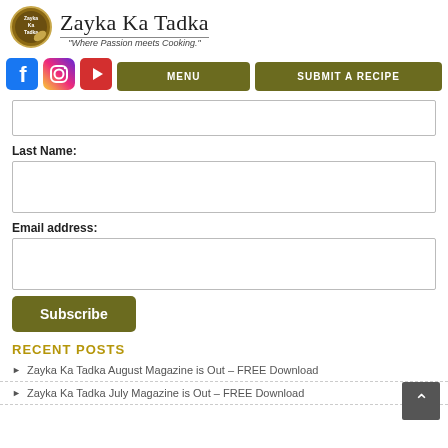Zayka Ka Tadka
"Where Passion meets Cooking."
[Figure (logo): Zayka Ka Tadka circular logo with spoon]
[Figure (logo): Facebook icon]
[Figure (logo): Instagram icon]
[Figure (logo): YouTube icon]
MENU
SUBMIT A RECIPE
Last Name:
Email address:
Subscribe
RECENT POSTS
Zayka Ka Tadka August Magazine is Out – FREE Download
Zayka Ka Tadka July Magazine is Out – FREE Download